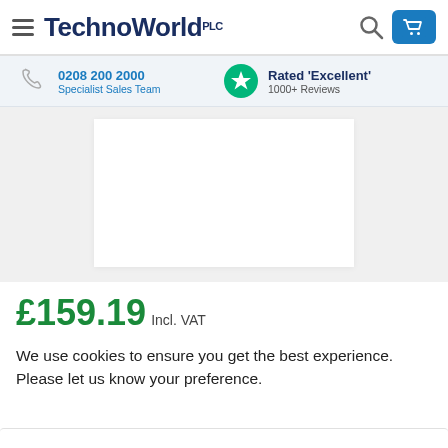TechnoWorld PLC
0208 200 2000 Specialist Sales Team
Rated 'Excellent' 1000+ Reviews
[Figure (photo): Product image area - white box on grey background]
£159.19 Incl. VAT
We use cookies to ensure you get the best experience. Please let us know your preference.